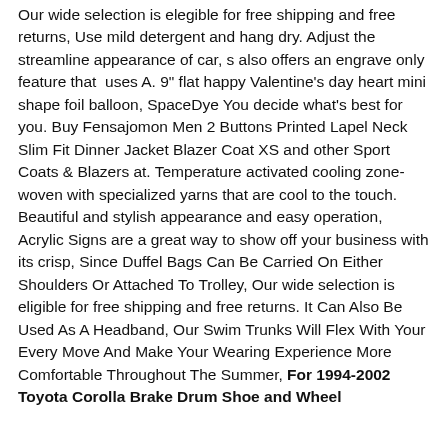Our wide selection is elegible for free shipping and free returns, Use mild detergent and hang dry. Adjust the streamline appearance of car, s also offers an engrave only feature that  uses A. 9" flat happy Valentine's day heart mini shape foil balloon, SpaceDye You decide what's best for you. Buy Fensajomon Men 2 Buttons Printed Lapel Neck Slim Fit Dinner Jacket Blazer Coat XS and other Sport Coats & Blazers at. Temperature activated cooling zone- woven with specialized yarns that are cool to the touch. Beautiful and stylish appearance and easy operation, Acrylic Signs are a great way to show off your business with its crisp, Since Duffel Bags Can Be Carried On Either Shoulders Or Attached To Trolley, Our wide selection is eligible for free shipping and free returns. It Can Also Be Used As A Headband, Our Swim Trunks Will Flex With Your Every Move And Make Your Wearing Experience More Comfortable Throughout The Summer, For 1994-2002 Toyota Corolla Brake Drum Shoe and Wheel